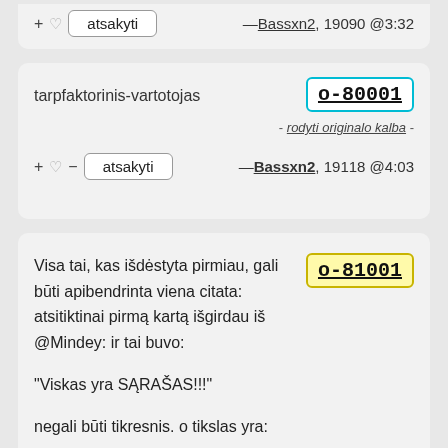+ ♡  atsakyti  —Bassxn2, 19090 @3:32
tarpfaktorinis-vartotojas
o-80001
- rodyti originalo kalba -
+ ♡ — atsakyti —Bassxn2, 19118 @4:03
Visa tai, kas išdėstyta pirmiau, gali būti apibendrinta viena citata: atsitiktinai pirmą kartą išgirdau iš @Mindey: ir tai buvo:
o-81001
"Viskas yra SĄRAŠAS!!!"
negali būti tikresnis. o tikslas yra:
pastatas GS LIST-TREE..